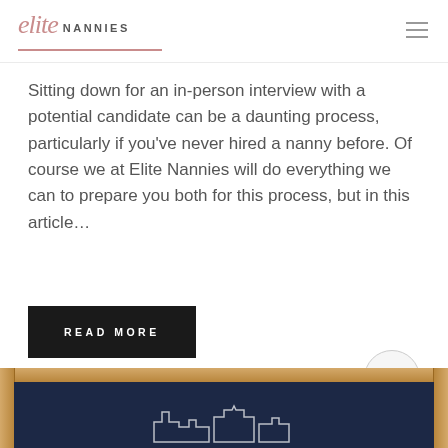elite NANNIES
Sitting down for an in-person interview with a potential candidate can be a daunting process, particularly if you've never hired a nanny before. Of course we at Elite Nannies will do everything we can to prepare you both for this process, but in this article...
READ MORE
[Figure (screenshot): Framed chalkboard image partially visible at the bottom of the page with a wood frame border and dark navy chalkboard interior with white chalk artwork]